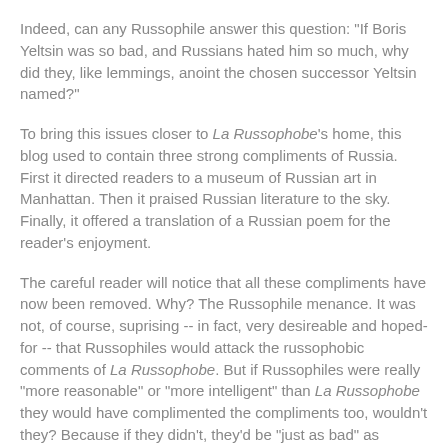Indeed, can any Russophile answer this question: "If Boris Yeltsin was so bad, and Russians hated him so much, why did they, like lemmings, anoint the chosen successor Yeltsin named?"
To bring this issues closer to La Russophobe's home, this blog used to contain three strong compliments of Russia. First it directed readers to a museum of Russian art in Manhattan. Then it praised Russian literature to the sky. Finally, it offered a translation of a Russian poem for the reader's enjoyment.
The careful reader will notice that all these compliments have now been removed. Why? The Russophile menance. It was not, of course, suprising -- in fact, very desireable and hoped-for -- that Russophiles would attack the russophobic comments of La Russophobe. But if Russophiles were really "more reasonable" or "more intelligent" than La Russophobe they would have complimented the compliments too, wouldn't they? Because if they didn't, they'd be "just as bad" as "terrible" La Russophobe, wouldn't they?